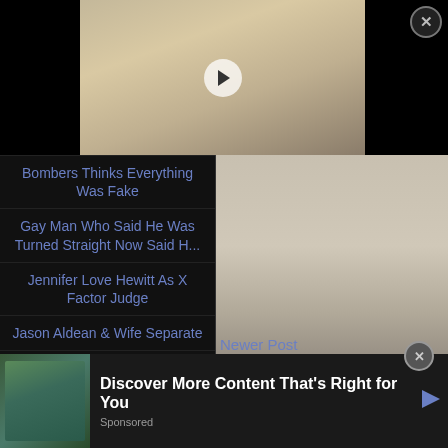[Figure (photo): White fluffy dog (golden retriever puppy) wearing a bandana lying on a colorful blanket, with a video play button overlay. Top portion of a webpage with close button.]
Bombers Thinks Everything Was Fake
Gay Man Who Said He Was Turned Straight Now Said H...
Jennifer Love Hewitt As X Factor Judge
Jason Aldean & Wife Separate
Random Photos Part Four
Random Photos Part Three
Ra...
[Figure (photo): Photo of a person near a wall/baseboard, advertisement image for flat stomach exercise product]
7 Minutes a Day to a Flat Stomac
One & Done
Newer Post
[Figure (photo): Advertisement banner with mountain/nature scene image on the left]
Discover More Content That's Right for You
Sponsored